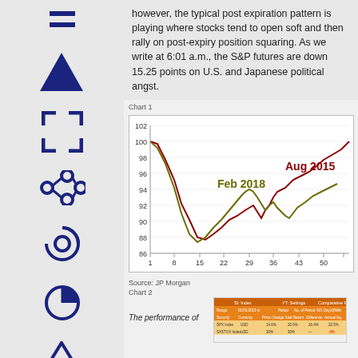however, the typical post expiration pattern is playing where stocks tend to open soft and then rally on post-expiry position squaring. As we write at 6:01 a.m., the S&P futures are down 15.25 points on U.S. and Japanese political angst.
Chart 1
[Figure (line-chart): Two line series comparing Aug 2015 (red/brown) and Feb 2018 (green/olive) post-expiration patterns. X-axis: 1, 8, 15, 22, 29, 36, 43, 50. Y-axis: 86 to 102. Aug 2015 starts near 100, dips to ~89, then recovers to ~100. Feb 2018 starts near 100, dips to ~88, recovers to ~96 then drops to ~92.]
Source: JP Morgan
Chart 2
[Figure (screenshot): Partial screenshot of a financial data table showing comparative returns for indexes.]
The performance of